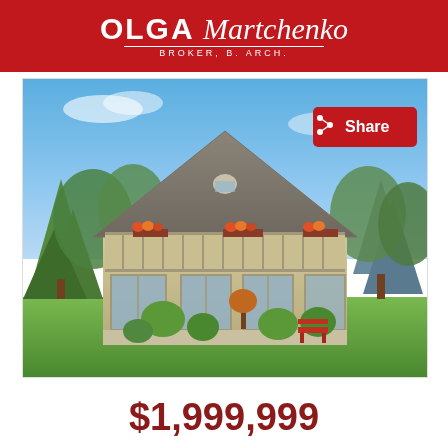OLGA Martchenko BROKER, B. ARCH.
[Figure (photo): Exterior photo of a large beige A-frame style house with a steep gabled roof, second-floor balcony with flower boxes, ground floor with large windows and patio doors, surrounded by manicured lawn and evergreen trees on a sunny day. A red 'Share' button overlays the upper right corner of the photo.]
$1,999,999